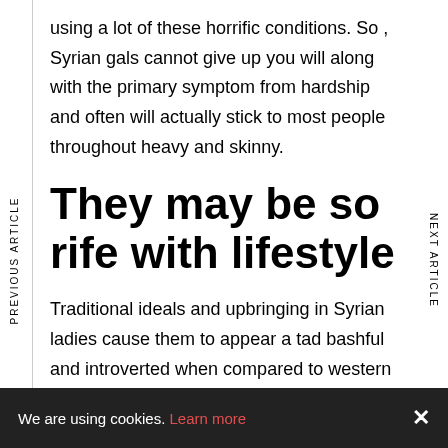using a lot of these horrific conditions. So , Syrian gals cannot give up you will along with the primary symptom from hardship and often will actually stick to most people throughout heavy and skinny.
They may be so rife with lifestyle
Traditional ideals and upbringing in Syrian ladies cause them to appear a tad bashful and introverted when compared to western criteria.
But that is most considering ones Syrian young women necessitates time for you to build a better
We are using cookies. Learn more ×